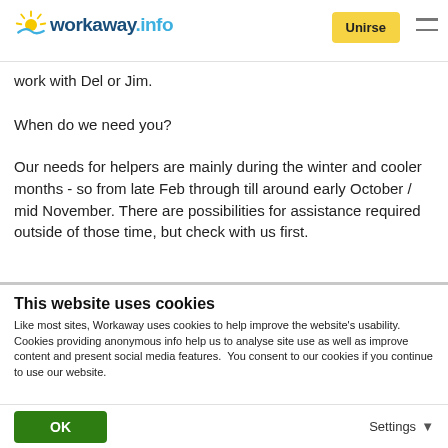[Figure (logo): Workaway.info logo with sun graphic, 'Unirse' yellow button, and hamburger menu icon]
work with Del or Jim.
When do we need you?
Our needs for helpers are mainly during the winter and cooler months - so from late Feb through till around early October / mid November. There are possibilities for assistance required outside of those time, but check with us first.
This website uses cookies
Like most sites, Workaway uses cookies to help improve the website's usability. Cookies providing anonymous info help us to analyse site use as well as improve content and present social media features.  You consent to our cookies if you continue to use our website.
OK
Settings